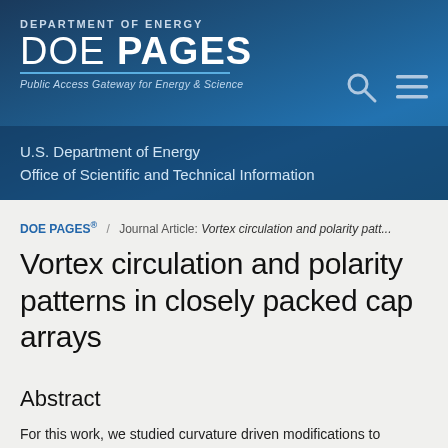[Figure (logo): DOE PAGES header banner with Department of Energy logo, DOE PAGES text, search and menu icons, and institution name]
DOE PAGES® / Journal Article: Vortex circulation and polarity patt...
Vortex circulation and polarity patterns in closely packed cap arrays
Abstract
For this work, we studied curvature driven modifications to